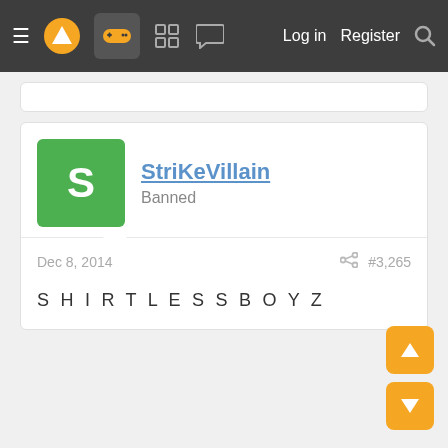≡  [logo]  [controller icon]  [grid icon]  [chat icon]  Log in  Register  [search icon]
StriKeVillain
Banned
Dec 8, 2014  #3,265
S H I R T L E S S B O Y Z